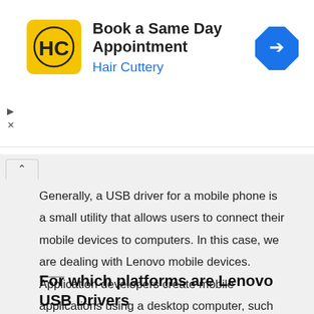[Figure (logo): Hair Cuttery advertisement banner with yellow HC logo, title 'Book a Same Day Appointment', subtitle 'Hair Cuttery', and a blue diamond arrow icon on the right]
Generally, a USB driver for a mobile phone is a small utility that allows users to connect their mobile devices to computers. In this case, we are dealing with Lenovo mobile devices. Application developers create mobile applications using a desktop computer, such as a Windows or Mac PC. It isn't easy to thoroughly test the software without installing it on a mobile device. Lenovo USB Drivers make this possible for Lenovo smartphones running Android OS.
For which platforms are Lenovo USB Drivers